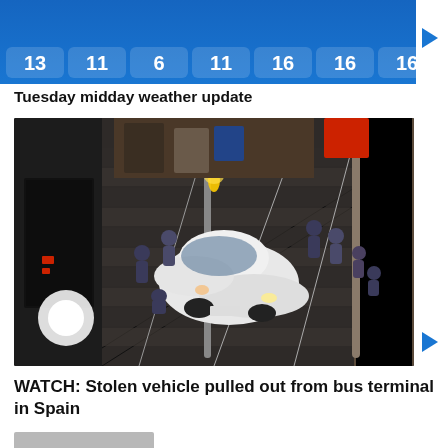[Figure (screenshot): Weather forecast strip showing 7 days with numbers 13, 11, 6, 11, 16, 16, 16 on a blue background]
Tuesday midday weather update
[Figure (photo): A white car stuck on escalator/stairs inside a bus terminal, surrounded by emergency responders in uniform]
WATCH: Stolen vehicle pulled out from bus terminal in Spain